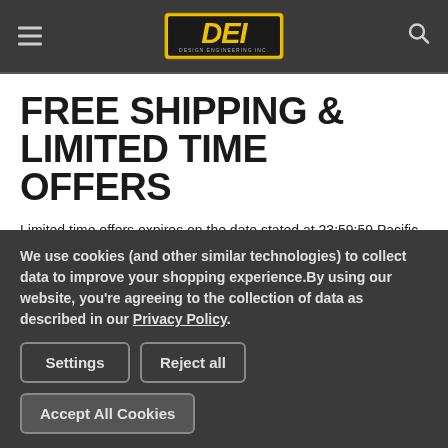DEI - Design Engineering, Inc. logo and navigation header
FREE SHIPPING & LIMITED TIME OFFERS
Limited time offers expires on the date stated at 23:59:59 Pacific Time. If no expiration date is stated, then offers will be valid until removed from the website by Design Engineering, Inc (DEI). DEI reserves the right to end any offer at any time, without notice.
We use cookies (and other similar technologies) to collect data to improve your shopping experience.By using our website, you're agreeing to the collection of data as described in our Privacy Policy.